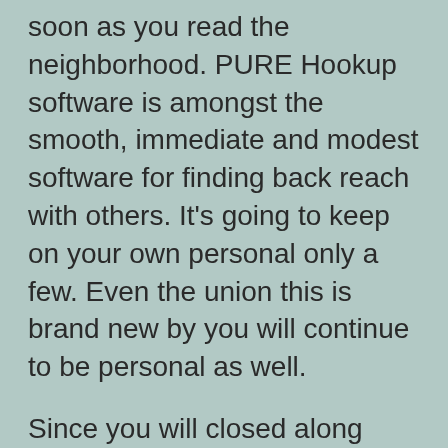soon as you read the neighborhood. PURE Hookup software is amongst the smooth, immediate and modest software for finding back reach with others. It's going to keep on your own personal only a few. Even the union this is brand new by you will continue to be personal as well.

Since you will closed along side software, all the chatting will be wiped with this program. Hookup romance Flirt Chat complimentary is truly a free of cost relationship and flirting program but in addition possible minded males merely. Then Apps assessments a relationship